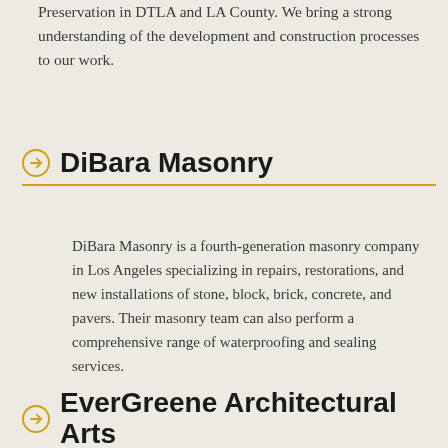Preservation in DTLA and LA County. We bring a strong understanding of the development and construction processes to our work.
DiBara Masonry
DiBara Masonry is a fourth-generation masonry company in Los Angeles specializing in repairs, restorations, and new installations of stone, block, brick, concrete, and pavers. Their masonry team can also perform a comprehensive range of waterproofing and sealing services.
EverGreene Architectural Arts